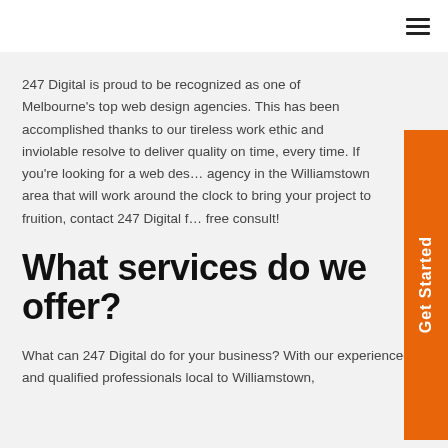≡
247 Digital is proud to be recognized as one of Melbourne's top web design agencies. This has been accomplished thanks to our tireless work ethic and inviolable resolve to deliver quality on time, every time. If you're looking for a web design agency in the Williamstown area that will work around the clock to bring your project to fruition, contact 247 Digital for a free consult!
What services do we offer?
What can 247 Digital do for your business? With our experienced and qualified professionals local to Williamstown,